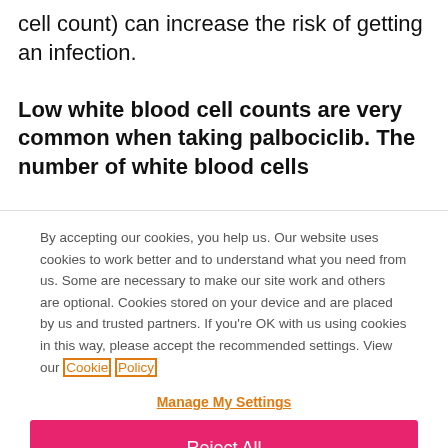cell count) can increase the risk of getting an infection.

Low white blood cell counts are very common when taking palbociclib. The number of white blood cells
By accepting our cookies, you help us. Our website uses cookies to work better and to understand what you need from us. Some are necessary to make our site work and others are optional. Cookies stored on your device and are placed by us and trusted partners. If you're OK with us using cookies in this way, please accept the recommended settings. View our Cookie Policy
Manage My Settings
Reject All
Accept All Cookies